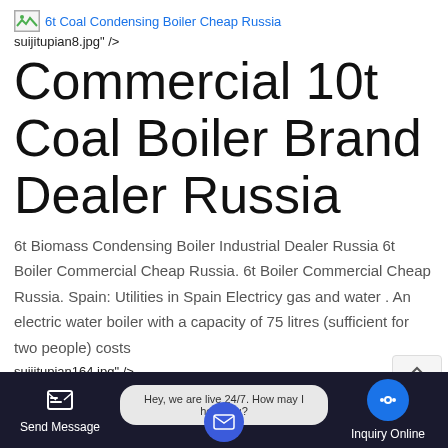[Figure (other): Broken image placeholder with link text '6t Coal Condensing Boiler Cheap Russia']
suijitupian8.jpg" />
Commercial 10t Coal Boiler Brand Dealer Russia
6t Biomass Condensing Boiler Industrial Dealer Russia 6t Boiler Commercial Cheap Russia. 6t Boiler Commercial Cheap Russia. Spain: Utilities in Spain Electricy gas and water . An electric water boiler with a capacity of 75 litres (sufficient for two people) costs
suijitupian164.jpg" />
Commercial Agent Condensing
[Figure (other): Bottom navigation bar with Send Message button, live chat bubble saying 'Hey, we are live 24/7. How may I help you?', and Inquiry Online button]